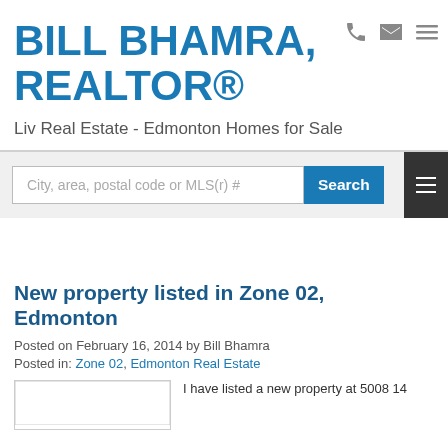BILL BHAMRA, REALTOR®
Liv Real Estate - Edmonton Homes for Sale
City, area, postal code or MLS(r) #
New property listed in Zone 02, Edmonton
Posted on February 16, 2014 by Bill Bhamra
Posted in: Zone 02, Edmonton Real Estate
I have listed a new property at 5008 14